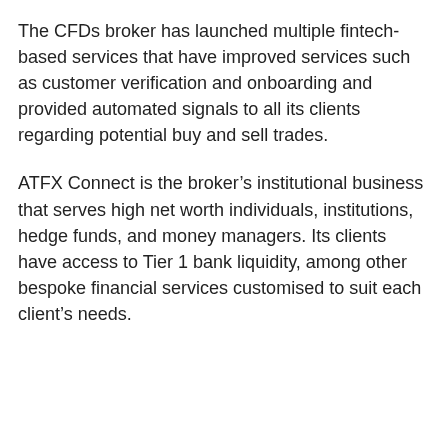The CFDs broker has launched multiple fintech-based services that have improved services such as customer verification and onboarding and provided automated signals to all its clients regarding potential buy and sell trades.
ATFX Connect is the broker's institutional business that serves high net worth individuals, institutions, hedge funds, and money managers. Its clients have access to Tier 1 bank liquidity, among other bespoke financial services customised to suit each client's needs.